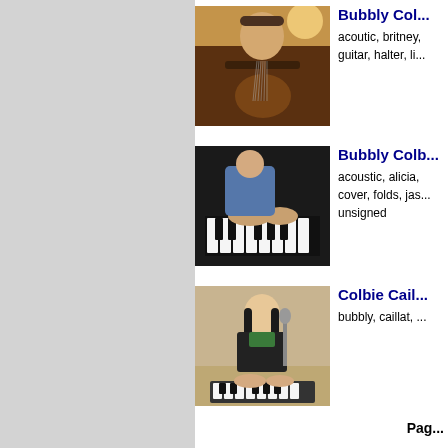[Figure (photo): Person playing acoustic guitar, singing, wearing cap and brown shirt, warm light background]
Bubbly Col...
acoutic, britney, guitar, halter, li...
[Figure (photo): Person playing piano/keyboard, hands on keys, dark piano visible]
Bubbly Colb...
acoustic, alicia, cover, folds, jas... unsigned
[Figure (photo): Young woman with long dark hair playing keyboard/piano, smiling, microphone visible]
Colbie Cail...
bubbly, caillat,...
Pag...
Best site...
w...